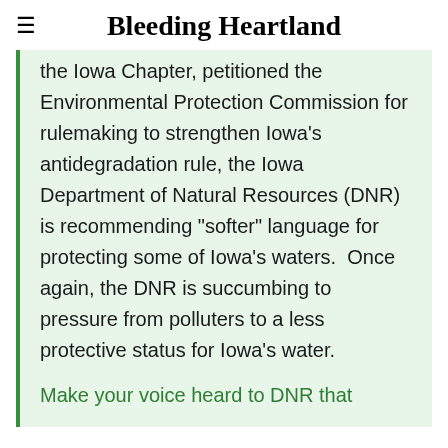Bleeding Heartland
the Iowa Chapter, petitioned the Environmental Protection Commission for rulemaking to strengthen Iowa's antidegradation rule, the Iowa Department of Natural Resources (DNR) is recommending "softer" language for protecting some of Iowa's waters.  Once again, the DNR is succumbing to pressure from polluters to a less protective status for Iowa's water.
Make your voice heard to DNR that